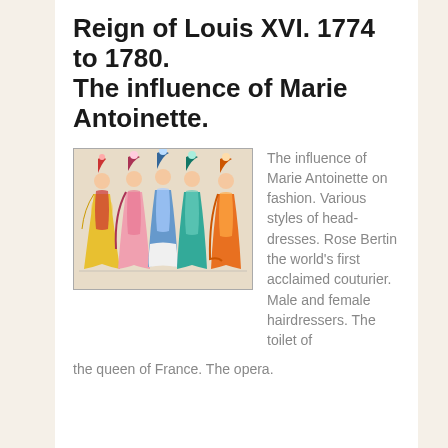Reign of Louis XVI. 1774 to 1780. The influence of Marie Antoinette.
[Figure (illustration): Colorful illustration of five women in elaborate 18th-century French court dresses with decorative headdresses, shown in full-length poses.]
The influence of Marie Antoinette on fashion. Various styles of head-dresses. Rose Bertin the world's first acclaimed couturier. Male and female hairdressers. The toilet of the queen of France. The opera.